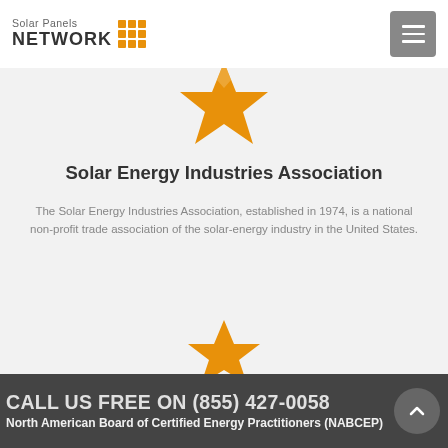Solar Panels NETWORK
[Figure (illustration): Orange star icon, large, centered near top of page]
Solar Energy Industries Association
The Solar Energy Industries Association, established in 1974, is a national non-profit trade association of the solar-energy industry in the United States.
[Figure (illustration): Orange star icon, medium, centered in lower portion of page]
CALL US FREE ON (855) 427-0058 North American Board of Certified Energy Practitioners (NABCEP)